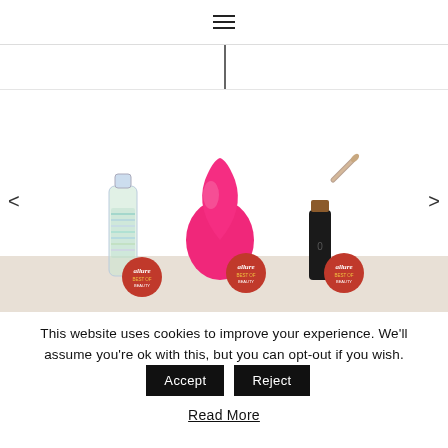≡ (hamburger menu icon)
[Figure (screenshot): Product carousel showing three beauty products with Allure badges: a green serum bottle, a pink beauty blender sponge, and a brown makeup stick/lipstick with brush. Navigation arrows on left and right. Carousel sits on a beige background strip.]
This website uses cookies to improve your experience. We'll assume you're ok with this, but you can opt-out if you wish.
Accept
Reject
Read More